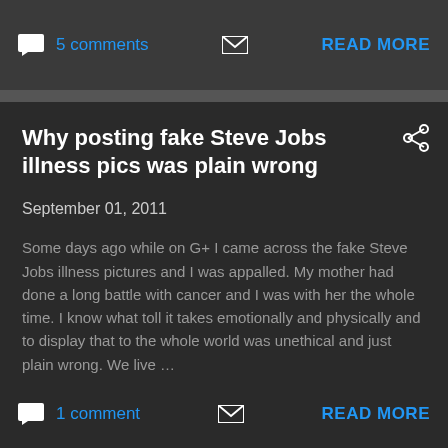5 comments  READ MORE
Why posting fake Steve Jobs illness pics was plain wrong
September 01, 2011
Some days ago while on G+ I came across the fake Steve Jobs illness pictures and I was appalled. My mother had done a long battle with cancer and I was with her the whole time. I know what toll it takes emotionally and physically and to display that to the whole world was unethical and just plain wrong. We live …
1 comment  READ MORE